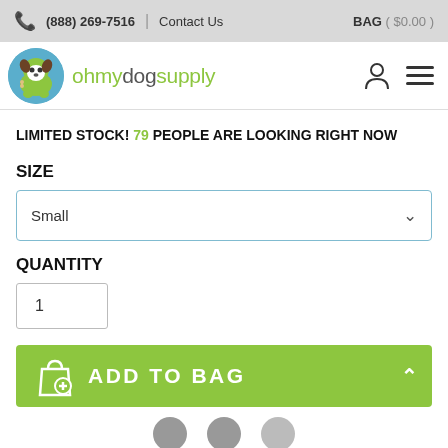(888) 269-7516 | Contact Us | BAG ($0.00)
[Figure (logo): ohmydogsupply logo with cartoon dog in a blue circle]
LIMITED STOCK! 79 PEOPLE ARE LOOKING RIGHT NOW
SIZE
Small
QUANTITY
1
ADD TO BAG